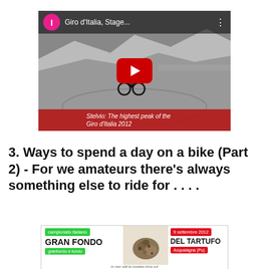[Figure (screenshot): YouTube video thumbnail showing a cyclist on a snowy mountain road, with YouTube player chrome. Title reads 'Giro d'Italia, Stage...' with a pink avatar showing 'I'. Bottom caption bar reads 'Stelvio: The highest peak of the Giro d'Italia 2012'.]
3. Ways to spend a day on a bike (Part 2) - For we amateurs there's always something else to ride for . . . .
[Figure (screenshot): Gran Fondo del Tartufo event flyer showing: green badge 'campionato italiano', bold text 'GRAN FONDO', green badge 'granfondo e fondo' on left; truffle photo in center; red badge '9 settembre 2012', bold text 'DEL TARTUFO', red badge 'Acqualagna (Pu)' on right.]